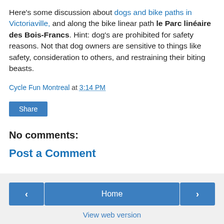Here's some discussion about dogs and bike paths in Victoriaville, and along the bike linear path le Parc linéaire des Bois-Francs. Hint: dog's are prohibited for safety reasons. Not that dog owners are sensitive to things like safety, consideration to others, and restraining their biting beasts.
Cycle Fun Montreal at 3:14 PM
Share
No comments:
Post a Comment
< Home > View web version